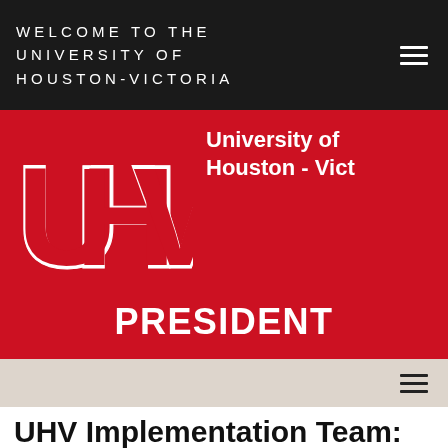WELCOME TO THE
UNIVERSITY OF
HOUSTON-VICTORIA
[Figure (logo): UHV logo — large red block letters U H V with white outline on red background]
University of Houston - Victoria
PRESIDENT
UHV Implementation Team: Meet the Diversity and Inclusion Committee